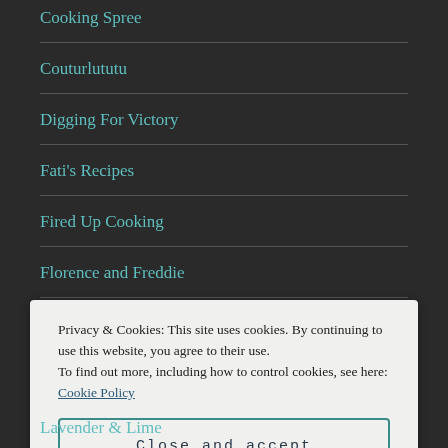Cooking Spree
Couturlututu
Digging For Victory
Fati's Recipes
Fired Up Cooking
Florence and Freddie
Food, Photography and France
Privacy & Cookies: This site uses cookies. By continuing to use this website, you agree to their use.
To find out more, including how to control cookies, see here: Cookie Policy
Close and accept
Lavender & Lime